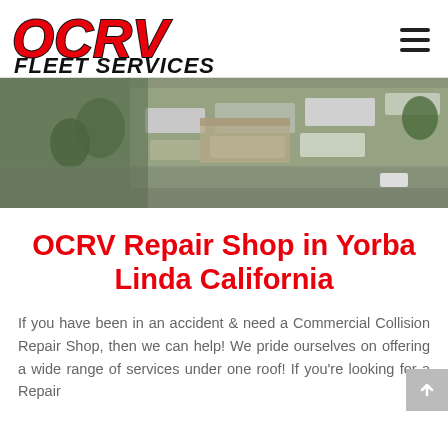[Figure (logo): OCRV Fleet Services logo — red italic bold OCRV text above black italic bold FLEET SERVICES text]
[Figure (photo): Aerial view of OCRV repair facility showing RVs, trucks and vehicles in a large parking/service lot with trees and buildings]
OCRV Repair Shop in Yorba Linda California
If you have been in an accident & need a Commercial Collision Repair Shop, then we can help! We pride ourselves on offering a wide range of services under one roof! If you're looking for a Repair